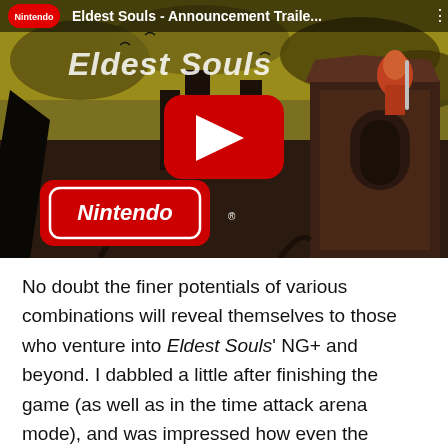[Figure (screenshot): YouTube video thumbnail for 'Eldest Souls - Announcement Traile...' on the Nintendo channel. Shows dark fantasy game artwork with a warrior figure on a gothic tower, yellow/green sky, ruined city. A red YouTube play button is centered on the image. A red Nintendo logo card is overlaid in the lower left.]
No doubt the finer potentials of various combinations will reveal themselves to those who venture into Eldest Souls' NG+ and beyond. I dabbled a little after finishing the game (as well as in the time attack arena mode), and was impressed how even the tutorial boss put up a solid fight with killer new moves and patterns. Although the